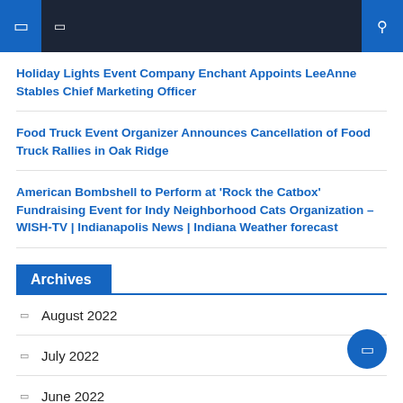Navigation header bar with menu icons and search
Holiday Lights Event Company Enchant Appoints LeeAnne Stables Chief Marketing Officer
Food Truck Event Organizer Announces Cancellation of Food Truck Rallies in Oak Ridge
American Bombshell to Perform at 'Rock the Catbox' Fundraising Event for Indy Neighborhood Cats Organization – WISH-TV | Indianapolis News | Indiana Weather forecast
Archives
August 2022
July 2022
June 2022